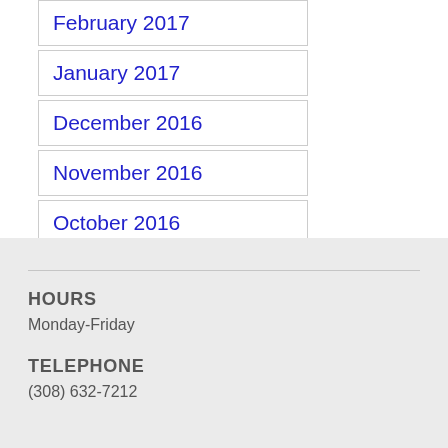February 2017
January 2017
December 2016
November 2016
October 2016
HOURS
Monday-Friday
TELEPHONE
(308) 632-7212